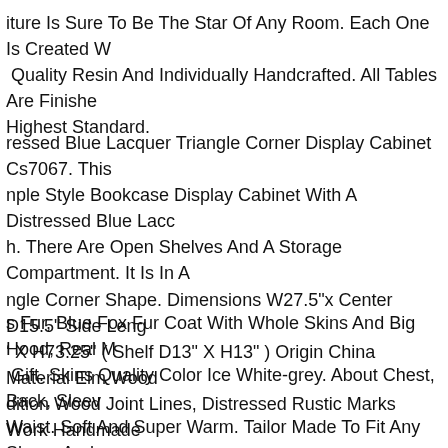iture Is Sure To Be The Star Of Any Room. Each One Is Created W Quality Resin And Individually Handcrafted. All Tables Are Finishe Highest Standard.
essed Blue Lacquer Triangle Corner Display Cabinet Cs7067. This nple Style Bookcase Display Cabinet With A Distressed Blue Lacc h. There Are Open Shelves And A Storage Compartment. It Is In A ngle Corner Shape. Dimensions W27.5"x Center D15.5" Side Leng ' X H73.25" ( Shelf D13" X H13" ) Origin China Material Elm Wood dition Wood Joint Lines, Distressed Rustic Marks Work Handmade In One Piece.
s Fur, Blue Fox Fur Coat With Whole Skins And Big Hood, Real M Gift. Skins Quality Color Ice White-grey. About Chest, Back, Sleev Waist. Soft And Super Warm. Tailor Made To Fit Any Shape And /.